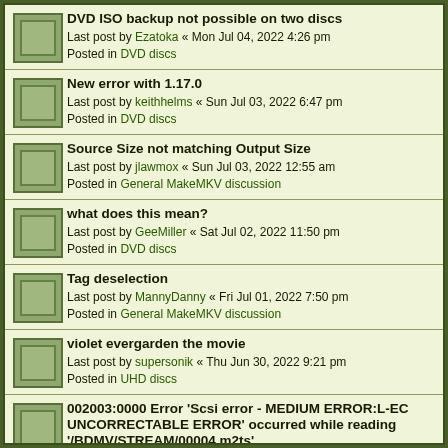DVD ISO backup not possible on two discs
Last post by Ezatoka « Mon Jul 04, 2022 4:26 pm
Posted in DVD discs
New error with 1.17.0
Last post by keithhelms « Sun Jul 03, 2022 6:47 pm
Posted in DVD discs
Source Size not matching Output Size
Last post by jlawmox « Sun Jul 03, 2022 12:55 am
Posted in General MakeMKV discussion
what does this mean?
Last post by GeeMiller « Sat Jul 02, 2022 11:50 pm
Posted in DVD discs
Tag deselection
Last post by MannyDanny « Fri Jul 01, 2022 7:50 pm
Posted in General MakeMKV discussion
violet evergarden the movie
Last post by supersonik « Thu Jun 30, 2022 9:21 pm
Posted in UHD discs
002003:0000 Error 'Scsi error - MEDIUM ERROR:L-EC UNCORRECTABLE ERROR' occurred while reading '/BDMV/STREAM/00004.m2ts'
Last post by KingPhoenix « Thu Jun 30, 2022 1:55 am
Posted in Blu-ray discs
Help with BD3D2MK3D - Cloudy With A Chance... 2
Last post by keven11 « Wed Jun 29, 2022 11:28 am